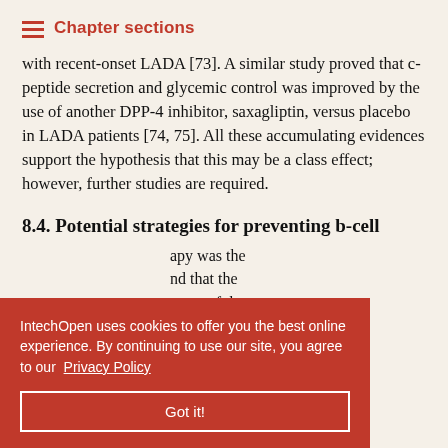Chapter sections
with recent-onset LADA [73]. A similar study proved that c-peptide secretion and glycemic control was improved by the use of another DPP-4 inhibitor, saxagliptin, versus placebo in LADA patients [74, 75]. All these accumulating evidences support the hypothesis that this may be a class effect; however, further studies are required.
8.4. Potential strategies for preventing b-cell
apy was the and that the tence of the ubjects with LADA treated with glibenclamide + insulin), and
IntechOpen uses cookies to offer you the best online experience. By continuing to use our site, you agree to our Privacy Policy
Got it!